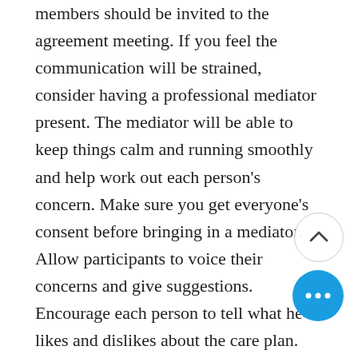members should be invited to the agreement meeting. If you feel the communication will be strained, consider having a professional mediator present. The mediator will be able to keep things calm and running smoothly and help work out each person's concern. Make sure you get everyone's consent before bringing in a mediator. Allow participants to voice their concerns and give suggestions. Encourage each person to tell what he likes and dislikes about the care plan. For those who disagree, ask how they would like to see that part handled. The person needing the care is the ultimate decision maker. But if a small change will make everyone more supportive, it is worth it. It is very important not to dictate but encourage attendees to communicate their concerns, their desires or their suggestions.